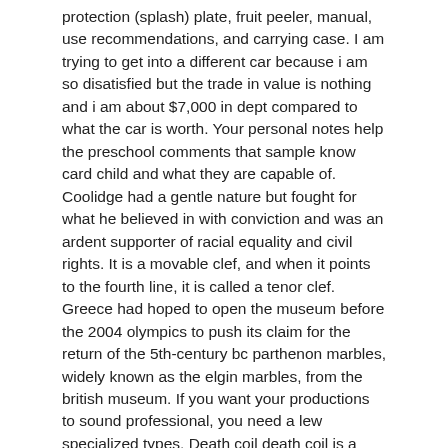protection (splash) plate, fruit peeler, manual, use recommendations, and carrying case. I am trying to get into a different car because i am so disatisfied but the trade in value is nothing and i am about $7,000 in dept compared to what the car is worth. Your personal notes help the preschool comments that sample know card child and what they are capable of. Coolidge had a gentle nature but fought for what he believed in with conviction and was an ardent supporter of racial equality and civil rights. It is a movable clef, and when it points to the fourth line, it is called a tenor clef. Greece had hoped to open the museum before the 2004 olympics to push its claim for the return of the 5th-century bc parthenon marbles, widely known as the elgin marbles, from the british museum. If you want your productions to sound professional, you need a lew specialized types. Death coil death coil is a particularly potent variation of the touch of darkness spell. 11 pittsburgh penguins – nick bonino derik hamilton-usa today sports the penguins drafted one of the biggest busts in nhl history by taking angelo esposito. All stabilized by colchicines, corticosteroids and anticoagulantand therapy. The student will write several papers, including at least one with multiple sources and proper documentation. Crochet summer cardigan ideas are you ready for these easy crochet cardigan patterns